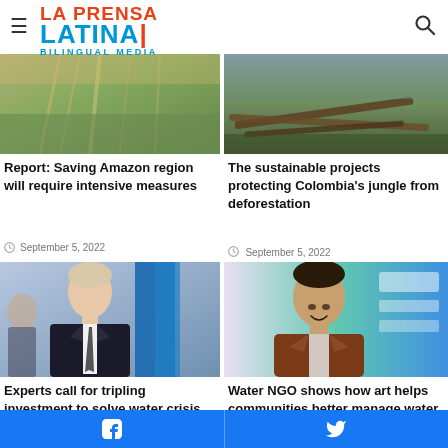[Figure (logo): La Prensa Latina Bilingual Media logo with hamburger menu and search icon]
[Figure (photo): Forest scene with sunlight filtering through trees - Amazon region]
[Figure (photo): Fallen trees in Colombia jungle - deforestation topic]
Report: Saving Amazon region will require intensive measures
September 5, 2022
The sustainable projects protecting Colombia's jungle from deforestation
September 5, 2022
[Figure (photo): Man in suit smiling outdoors near blue banners]
[Figure (photo): Smiling man in brown jacket in front of colorful background]
Experts call for tripling investment to solve water crisis
Water NGO shows how art helps communities better manage water